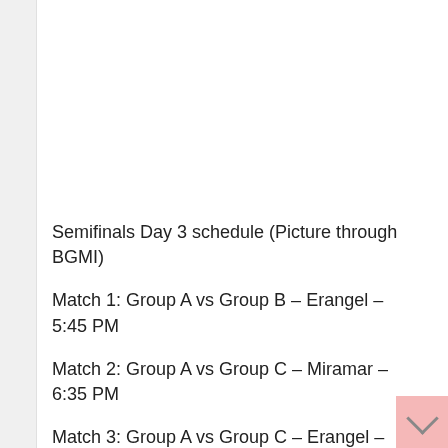Semifinals Day 3 schedule (Picture through BGMI)
Match 1: Group A vs Group B – Erangel – 5:45 PM
Match 2: Group A vs Group C – Miramar – 6:35 PM
Match 3: Group A vs Group C – Erangel – 7:25 PM